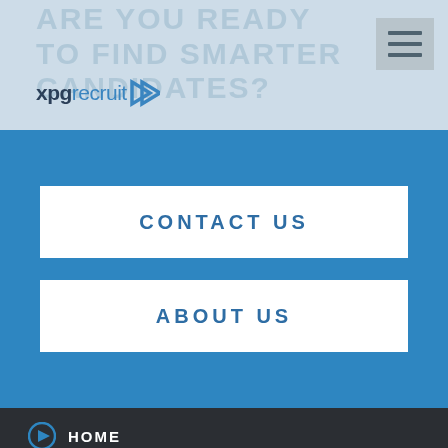ARE YOU READY TO FIND SMARTER CANDIDATES?
[Figure (logo): xpgrecruit logo with chevron arrow]
[Figure (other): Hamburger menu icon (three horizontal lines)]
CONTACT US
ABOUT US
HOME
CANDIDATES
EMPLOYERS
SEARCH JOBS
REQUEST AN EMPLOYEE
BLOG
CONTACT US